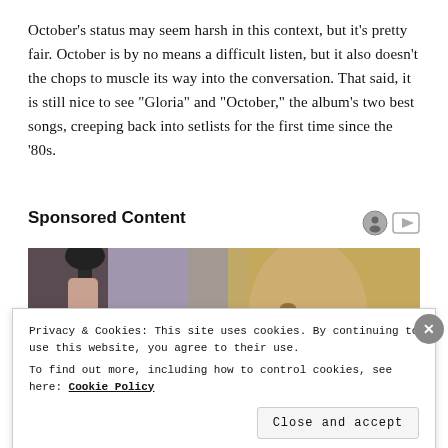October’s status may seem harsh in this context, but it’s pretty fair. October is by no means a difficult listen, but it also doesn’t the chops to muscle its way into the conversation. That said, it is still nice to see “Gloria” and “October,” the album’s two best songs, creeping back into setlists for the first time since the ‘80s.
Sponsored Content
[Figure (photo): Partial image of a blonde woman holding what appears to be a cane or umbrella handle, with a blurred background.]
Privacy & Cookies: This site uses cookies. By continuing to use this website, you agree to their use.
To find out more, including how to control cookies, see here: Cookie Policy
Close and accept